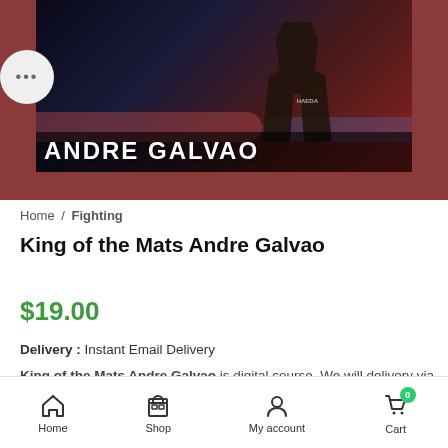[Figure (photo): Andre Galvao promotional image with arena background, name banner showing ANDRE GALVAO text]
Home / Fighting
King of the Mats Andre Galvao
$19.00
Delivery : Instant Email Delivery
King of the Mats Andre Galvao is digital course. We will delivery via
Home  Shop  My account  Cart